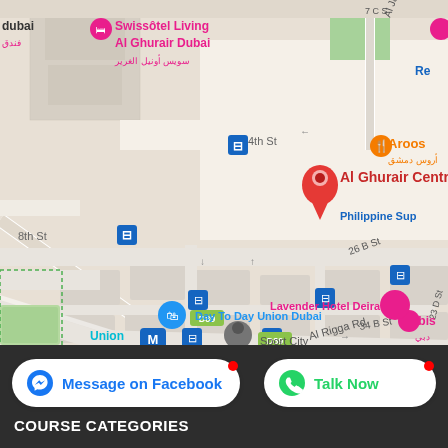[Figure (map): Google Maps screenshot showing Al Ghurair Centre area in Dubai, Deira. Shows streets including 4th St, 8th St, 26 B St, 34 B St, Al Rigga Rd. Landmarks include Swissotel Living Al Ghurair Dubai, Union Metro station, Day To Day Union Dubai, Sport City, Lavender Hotel Deira, Aroos Damascus restaurant, ibis hotel, Philippine Supermarket. Red pin marks Al Ghurair Centre. D89 bus route markers visible.]
[Figure (screenshot): Two action buttons: 'Message on Facebook' (blue Messenger icon, blue text on white pill button with red notification dot) and 'Talk Now' (green WhatsApp icon, green text on white pill button with red notification dot), on dark background.]
COURSE CATEGORIES